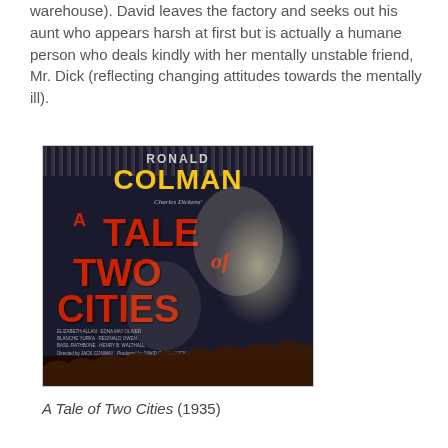warehouse). David leaves the factory and seeks out his aunt who appears harsh at first but is actually a humane person who deals kindly with her mentally unstable friend, Mr. Dick (reflecting changing attitudes towards the mentally ill).
[Figure (photo): Movie poster for 'A Tale of Two Cities' (1935) featuring Ronald Colman, with bold yellow and red text on dark background, showing two faces — a man and a woman — and a crowd scene at the bottom.]
A Tale of Two Cities (1935)